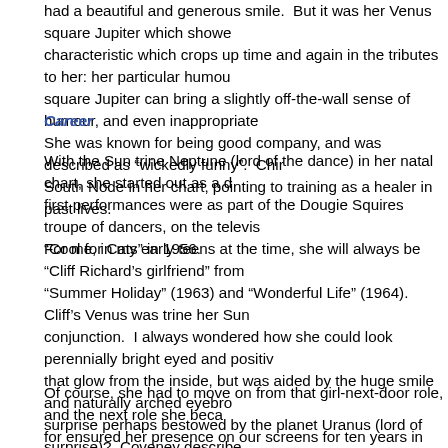had a beautiful and generous smile.  But it was her Venus square Jupiter which showe characteristic which crops up time and again in the tributes to her: her particular humou square Jupiter can bring a slightly off-the-wall sense of humour, and even inappropriate She was known for being good company, and was described as "wickedly funny".  Chir South Node in her chart, pointing to training as a healer in past lives.
Career
With the Sun trine Neptune (lord of the dance) in her natal chart, she started out as a d first performances were as part of the Dougie Squires troupe of dancers, on the televis "Cool for Cats" in 1956.
For me, in my early teens at the time, she will always be "Cliff Richard's girlfriend" from "Summer Holiday" (1963) and "Wonderful Life" (1964).  Cliff's Venus was trine her Sun conjunction.  I always wondered how she could look perennially bright eyed and positiv that glow from the inside, but was aided by the huge smile and naturally arched eyebro surprise perhaps bestowed by the planet Uranus (lord of surprise)?  Coveney describe "a docile, amenable dolly bird hanging around Cliff and the Shadows".
Of course, she had to move on from that girl-next-door role, and the next role she beca for ensured her presence on our screens for ten years in "Till Death Us Do Part", and n you count the sequel "In Sickness and in Health".  She played a slightly rebellious (Ura